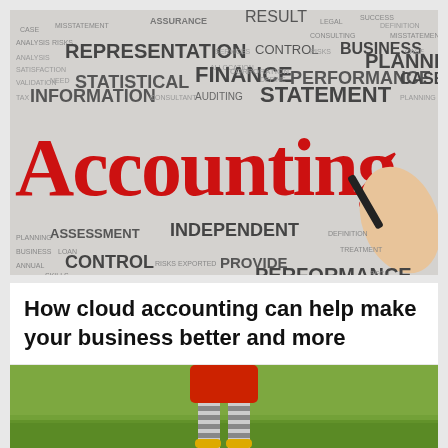[Figure (illustration): Accounting word cloud with large red handwritten 'ACCOUNTING' text and hand holding pen, surrounded by accounting-related terms such as REPRESENTATION, STATISTICAL, INFORMATION, FINANCE, STATEMENT, PERFORMANCE, CONTROL, INDEPENDENT, ASSESSMENT, PROVIDE, CONSULTANT, PLANNING, RESULT, BUSINESS, ASSURANCE, etc.]
How cloud accounting can help make your business better and more
[Figure (photo): Child wearing red jacket and striped grey socks with yellow boots walking on green grass, photographed from waist down]